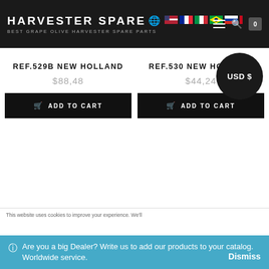HARVESTER SPARES – BEST GRAPE OLIVE HARVESTER SPARE PARTS
USD $
REF.529B NEW HOLLAND
$88,48
ADD TO CART
REF.530 NEW HOLLAND
$44,24
ADD TO CART
Are you a big Dealer? Write us to add our products to your catalog. Worldwide service.
Dismiss